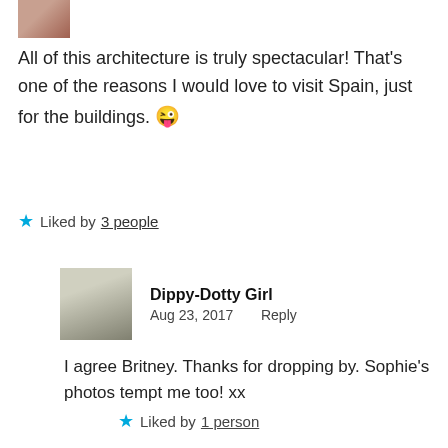[Figure (photo): Partial avatar photo of a person, cropped at top of page]
All of this architecture is truly spectacular! That's one of the reasons I would love to visit Spain, just for the buildings. 😜
★ Liked by 3 people
[Figure (photo): Black and white avatar photo of Dippy-Dotty Girl]
Dippy-Dotty Girl
Aug 23, 2017   Reply
I agree Britney. Thanks for dropping by. Sophie's photos tempt me too! xx
★ Liked by 1 person